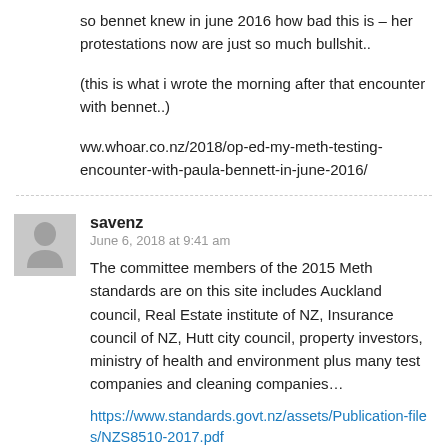so bennet knew in june 2016 how bad this is – her protestations now are just so much bullshit..
(this is what i wrote the morning after that encounter with bennet..)
ww.whoar.co.nz/2018/op-ed-my-meth-testing-encounter-with-paula-bennett-in-june-2016/
savenz
June 6, 2018 at 9:41 am
The committee members of the 2015 Meth standards are on this site includes Auckland council, Real Estate institute of NZ, Insurance council of NZ, Hutt city council, property investors, ministry of health and environment plus many test companies and cleaning companies…
https://www.standards.govt.nz/assets/Publication-files/NZS8510-2017.pdf